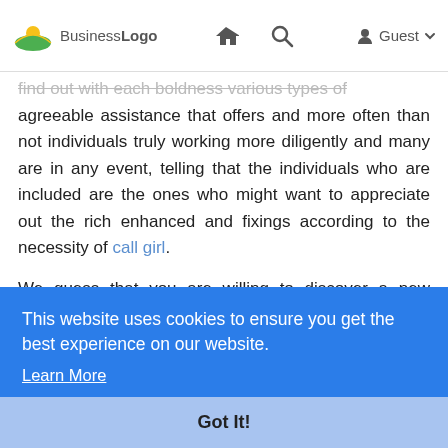BusinessLogo | Home | Search | Guest
find out with each boldness various types of agreeable assistance that offers and more often than not individuals truly working more diligently and many are in any event, telling that the individuals who are included are the ones who might want to appreciate out the rich enhanced and fixings according to the necessity of call girl.
We guess that you are willing to discover a new naughty side of yours with our high profile escorts. Our russian escorts in faridabad are so pretty that ...ter. ...can ...cy. ...and ...ted ...eel ...res without worrying about being judge. We have a
This website uses cookies to ensure you get the best experience on our website. Learn More
Got It!